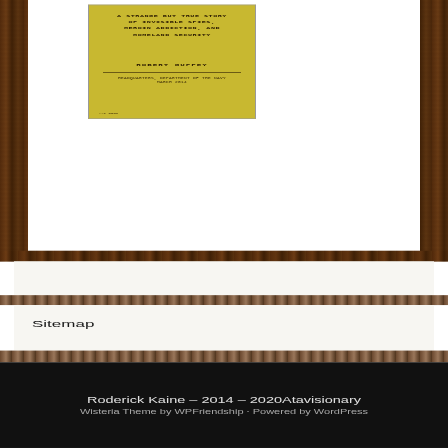[Figure (illustration): Book cover with yellow background. Title text: 'A Strange But True Story of Invisible Spies, Heroin Addiction, and Homeland Security'. Author: Robert Guffey. Small text at bottom referencing Headquarters, Department of the Navy, March 2014.]
Sitemap
Roderick Kaine – 2014 – 2020Atavisionary
Wisteria Theme by WPFriendship · Powered by WordPress